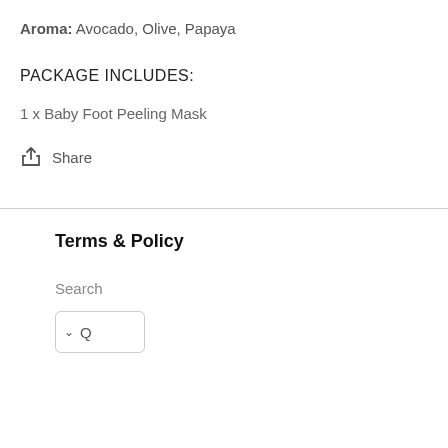Aroma: Avocado, Olive, Papaya
PACKAGE INCLUDES:
1 x Baby Foot Peeling Mask
Share
Terms & Policy
Search
Q